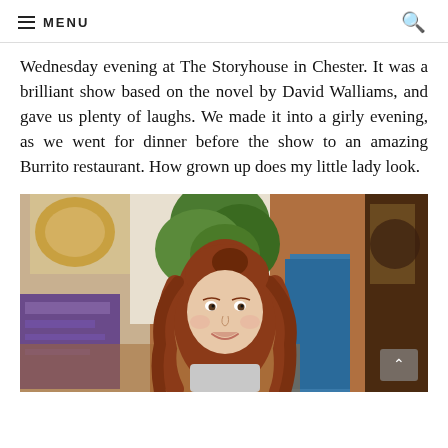MENU
Wednesday evening at The Storyhouse in Chester. It was a brilliant show based on the novel by David Walliams, and gave us plenty of laughs. We made it into a girly evening, as we went for dinner before the show to an amazing Burrito restaurant. How grown up does my little lady look.
[Figure (photo): A young girl with long reddish-brown wavy hair smiling at camera inside a restaurant. Background shows green plants, a purple/blue poster on the left, and warm orange/brown restaurant interior decor.]